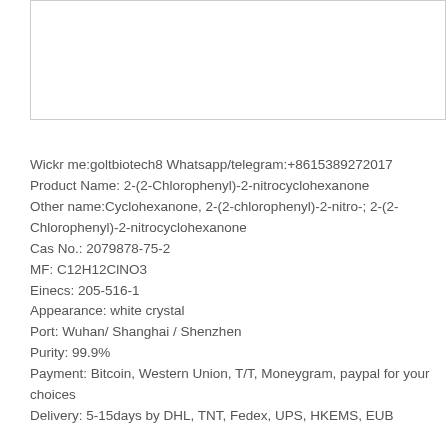[Figure (other): White/blank image box for chemical structure or product image]
Wickr me:goltbiotech8 Whatsapp/telegram:+8615389272017
Product Name: 2-(2-Chlorophenyl)-2-nitrocyclohexanone
Other name:Cyclohexanone, 2-(2-chlorophenyl)-2-nitro-; 2-(2-Chlorophenyl)-2-nitrocyclohexanone
Cas No.: 2079878-75-2
MF: C12H12ClNO3
Einecs: 205-516-1
Appearance: white crystal
Port: Wuhan/ Shanghai / Shenzhen
Purity: 99.9%
Payment: Bitcoin, Western Union, T/T, Moneygram, paypal for your choices
Delivery: 5-15days by DHL, TNT, Fedex, UPS, HKEMS, EUB